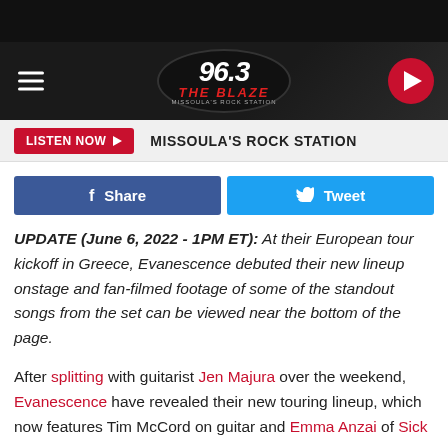[Figure (screenshot): 96.3 The Blaze radio station logo in oval with hamburger menu and play button]
LISTEN NOW  MISSOULA'S ROCK STATION
[Figure (other): Facebook Share and Twitter Tweet social buttons]
UPDATE (June 6, 2022 - 1PM ET): At their European tour kickoff in Greece, Evanescence debuted their new lineup onstage and fan-filmed footage of some of the standout songs from the set can be viewed near the bottom of the page.
After splitting with guitarist Jen Majura over the weekend, Evanescence have revealed their new touring lineup, which now features Tim McCord on guitar and Emma Anzai of Sick